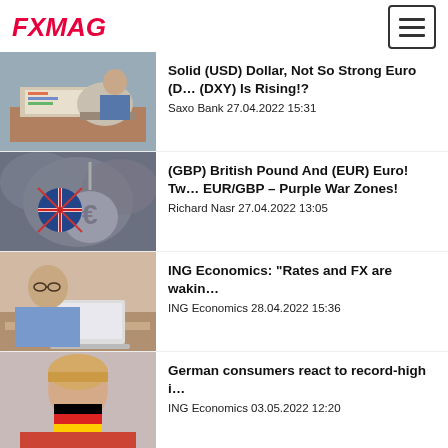FXMAG
Solid (USD) Dollar, Not So Strong Euro (DXY) Is Rising!?
Saxo Bank 27.04.2022 15:31
[Figure (photo): Person working at desk with charts and laptop]
(GBP) British Pound And (EUR) Euro! Tw... EUR/GBP – Purple War Zones!
Richard Nasr 27.04.2022 13:05
[Figure (photo): UK flag and Euro symbol wrecking ball in stormy sky]
ING Economics: "Rates and FX are wakin...
ING Economics 28.04.2022 15:36
[Figure (photo): Man with glasses working at laptop]
German consumers react to record-high i...
ING Economics 03.05.2022 12:20
[Figure (photo): Woman holding German flag in front of her face]